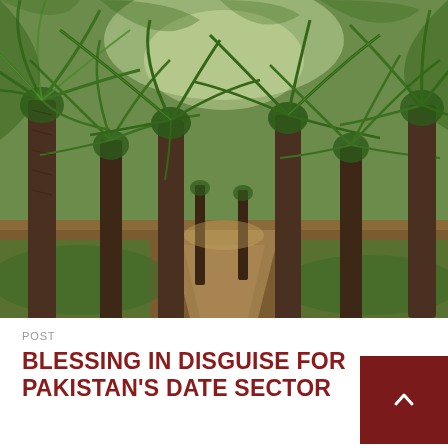[Figure (photo): A plantation of tall oil palm trees with long feathery fronds forming a canopy overhead. A dirt path runs between rows of palm trees into the distance. Tropical setting with dense green vegetation.]
POST
BLESSING IN DISGUISE FOR PAKISTAN'S DATE SECTOR